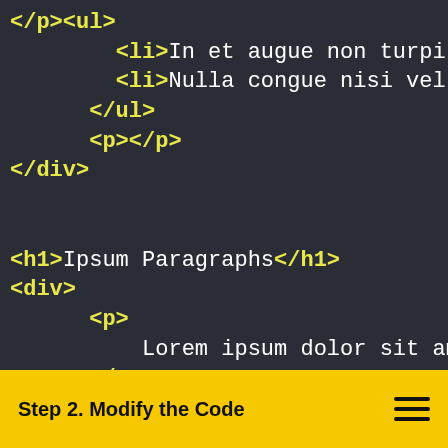[Figure (screenshot): Code editor screenshot showing HTML markup with dark background. Lines include closing </p><ul>, two <li> items with Lorem ipsum text, </ul>, <p></p>, </div>, blank line, <h1>Ipsum Paragraphs</h1>, <div>, <p> with Lorem ipsum dolor sit ame... text, </p>, <p> with Praesent sagittis leo ac... text, and </p> partially visible. Tags are yellow, text content is white.]
Step 2. Modify the Code